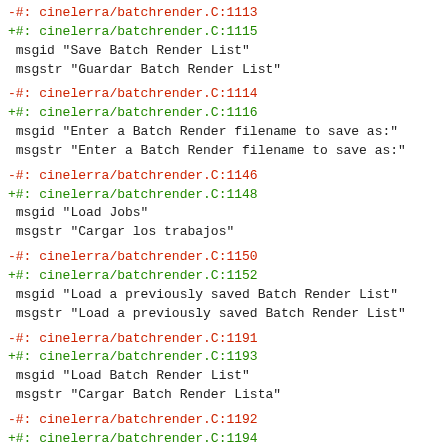-#: cinelerra/batchrender.C:1113 (cut off at top)
+#: cinelerra/batchrender.C:1115
 msgid "Save Batch Render List"
 msgstr "Guardar Batch Render List"
-#: cinelerra/batchrender.C:1114
+#: cinelerra/batchrender.C:1116
 msgid "Enter a Batch Render filename to save as:"
 msgstr "Enter a Batch Render filename to save as:"
-#: cinelerra/batchrender.C:1146
+#: cinelerra/batchrender.C:1148
 msgid "Load Jobs"
 msgstr "Cargar los trabajos"
-#: cinelerra/batchrender.C:1150
+#: cinelerra/batchrender.C:1152
 msgid "Load a previously saved Batch Render List"
 msgstr "Load a previously saved Batch Render List"
-#: cinelerra/batchrender.C:1191
+#: cinelerra/batchrender.C:1193
 msgid "Load Batch Render List"
 msgstr "Cargar Batch Render Lista"
-#: cinelerra/batchrender.C:1192
+#: cinelerra/batchrender.C:1194
 msgid "Enter a Batch Render filename to load from:"
 msgstr "Ender a Batch Render filename to load from:"
-#: cinelerra/batchrender.C:1226
+#: cinelerra/batchrender.C:1228
 msgid "Use Current EDL"